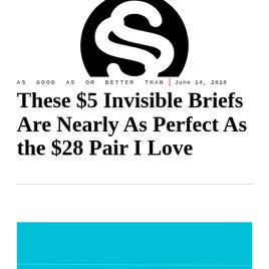[Figure (logo): Large stylized 'S' logo in black circle, partially cropped at top]
AS GOOD AS OR BETTER THAN | June 14, 2018
These $5 Invisible Briefs Are Nearly As Perfect As the $28 Pair I Love
[Figure (photo): Woman at beach holding a baby/toddler on her shoulders, bright turquoise sea and sky in background, woman wearing red top]